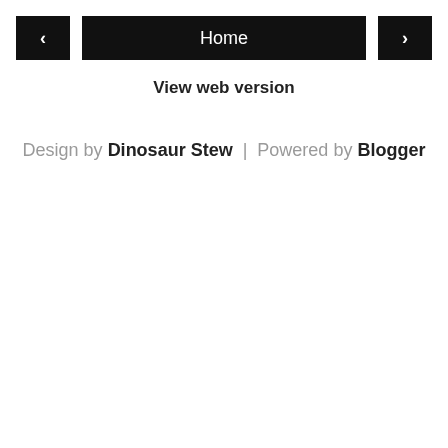‹  Home  ›
View web version
Design by Dinosaur Stew | Powered by Blogger